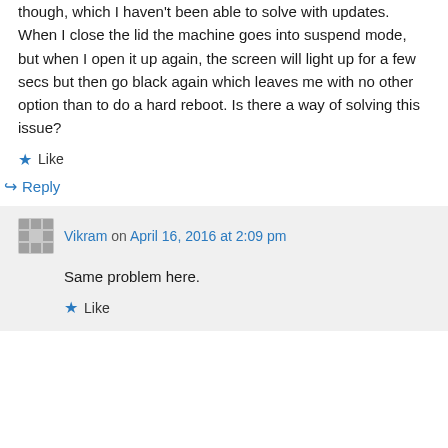though, which I haven't been able to solve with updates. When I close the lid the machine goes into suspend mode, but when I open it up again, the screen will light up for a few secs but then go black again which leaves me with no other option than to do a hard reboot. Is there a way of solving this issue?
Like
Reply
Vikram on April 16, 2016 at 2:09 pm
Same problem here.
Like